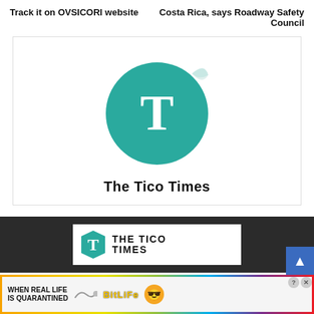Track it on OVSICORI website
Costa Rica, says Roadway Safety Council
[Figure (logo): The Tico Times logo: teal circular sticker with white serif T letter, with 'The Tico Times' text below in bold]
[Figure (logo): The Tico Times banner logo on white background inside dark section: teal polygon T icon with 'THE TICO TIMES' bold uppercase text]
[Figure (infographic): BitLife advertisement banner with rainbow gradient background: 'WHEN REAL LIFE IS QUARANTINED' text with emoji and BitLife logo]